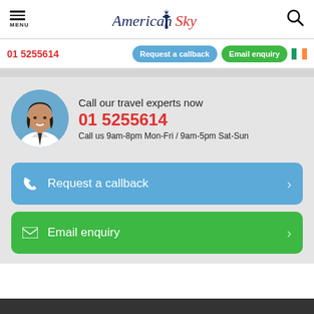[Figure (logo): American Sky logo with Statue of Liberty icon, 'American' in dark navy, 'Sky' in red]
01 5255614
Request a callback
Email enquiry
[Figure (photo): Circular avatar photo of a smiling woman with dark hair, wearing a white collared shirt with dark tie, blue sky background]
Call our travel experts now
01 5255614
Call us 9am-8pm Mon-Fri / 9am-5pm Sat-Sun
Request a callback
Email enquiry